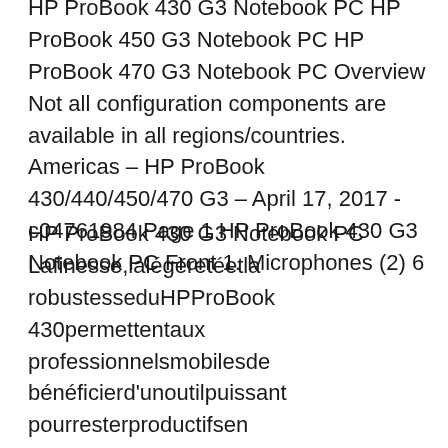HP ProBook 430 G3 Notebook PC HP ProBook 450 G3 Notebook PC HP ProBook 470 G3 Notebook PC Overview Not all configuration components are available in all regions/countries. Americas – HP ProBook 430/440/450/470 G3 – April 17, 2017 - c04761984 Page 1 HP ProBook 430 G3 Notebook PC Front 1. Microphones (2) 6
HP ProBook 430 G3 Notebook PC Lafinesse,lalégèretéetla robustesseduHPProBook 430permettentaux professionnelsmobilesde bénéficierd'unoutilpuissant pourresterproductifsen déplacement.Equipépourla productivité,ceProBookoffre lesperformancesetfonctions